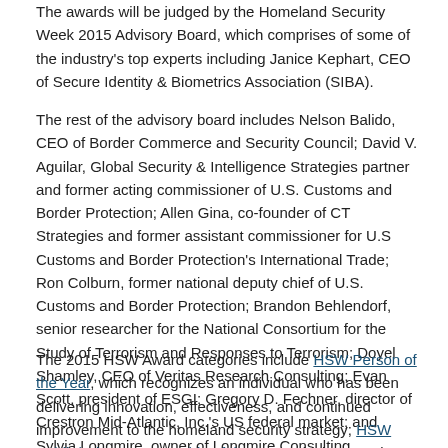The awards will be judged by the Homeland Security Week 2015 Advisory Board, which comprises of some of the industry's top experts including Janice Kephart, CEO of Secure Identity & Biometrics Association (SIBA).
The rest of the advisory board includes Nelson Balido, CEO of Border Commerce and Security Council; David V. Aguilar, Global Security & Intelligence Strategies partner and former acting commissioner of U.S. Customs and Border Protection; Allen Gina, co-founder of CT Strategies and former assistant commissioner for U.S Customs and Border Protection's International Trade; Ron Colburn, former national deputy chief of U.S. Customs and Border Protection; Brandon Behlendorf, senior researcher for the National Consortium for the Study of Terrorism and Responses to Terrorism; Doyel Shamley, CEO of Veritas Research Consulting; Evan Scott, president of ESGI; Gregory D. Fechner, director of Crestron Mid-Atlantic, Inc.'s US federal market; and Sylvia Longmire, owner of Longmire Consulting.
The 2015 HSW Award categories include HSW Person of the Year, which recognizes an individual who has been delivering innovation, effectiveness, and continued improvement to the homeland security strategy; HSW Public/Private Partnership of the Year, which recognizes the partnership that has been most...